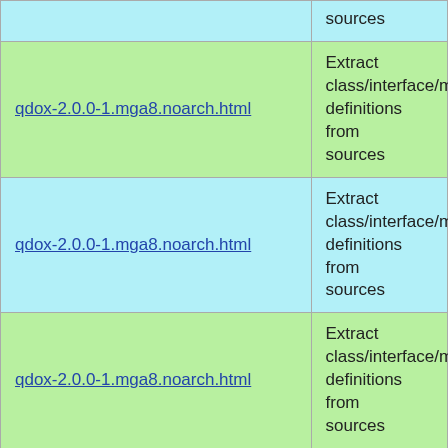| Package | Description |
| --- | --- |
| qdox-2.0.0-1.mga8.noarch.html | Extract class/interface/me... definitions from sources |
| qdox-2.0.0-1.mga8.noarch.html | Extract class/interface/me... definitions from sources |
| qdox-2.0.0-1.mga8.noarch.html | Extract class/interface/me... definitions from sources |
| qdox-2.0-3.M9.1.mga7.noarch.html | Extract class/interface/me... definitions from sources |
| qdox-2.0-3.M9.1.mga7.noarch.html | Extract class/interface/me... definitions from sources |
| qdox-2.0-3.M9.1.mga7.noarch.html | Extract class/interface/me... definitions from sources |